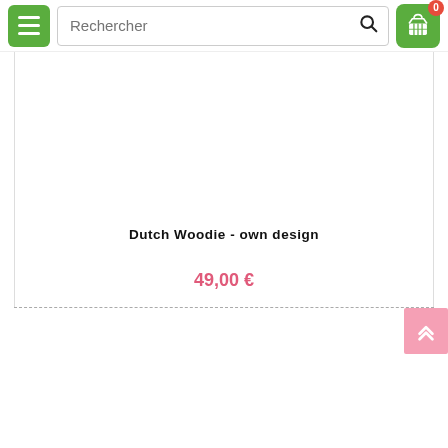Rechercher [search bar with cart icon showing 0 items]
Dutch Woodie - own design
49,00 €